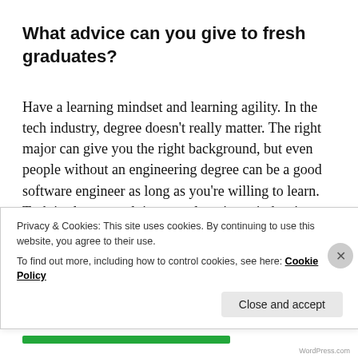What advice can you give to fresh graduates?
Have a learning mindset and learning agility. In the tech industry, degree doesn’t really matter. The right major can give you the right background, but even people without an engineering degree can be a good software engineer as long as you’re willing to learn. Tech is always evolving, so a learning mindset is very
Privacy & Cookies: This site uses cookies. By continuing to use this website, you agree to their use.
To find out more, including how to control cookies, see here: Cookie Policy
Close and accept